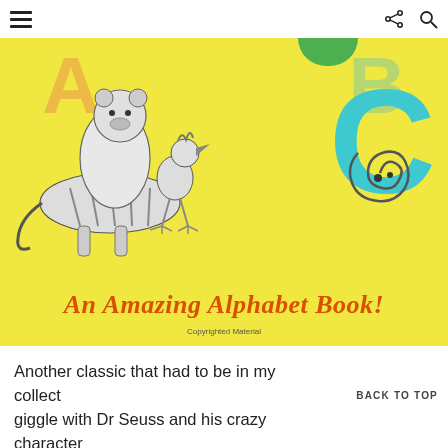≡  [share icon]  [search icon]
[Figure (photo): Book cover of 'Dr. Seuss's ABC: An Amazing Alphabet Book!' showing Dr. Seuss characters on a yellow background with a large cyan letter C and other alphabet letters. Characters include a striped cat-like animal and bird creatures.]
Another classic that had to be in my collect giggle with Dr Seuss and his crazy character mischief as you read your way through the alphabet
BACK TO TOP